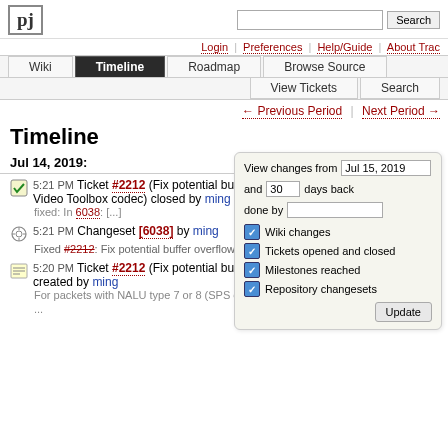pj | Search
Login | Preferences | Help/Guide | About Trac
Wiki | Timeline | Roadmap | Browse Source | View Tickets | Search
← Previous Period | Next Period →
Timeline
Jul 14, 2019:
5:21 PM Ticket #2212 (Fix potential buffer overflow in Video Toolbox codec) closed by ming
fixed: In 6038: [...]
5:21 PM Changeset [6038] by ming
Fixed #2212: Fix potential buffer overflow in Video Toolbox codec
5:20 PM Ticket #2212 (Fix potential buffer overflow in Video Toolbox codec) created by ming
For packets with NALU type 7 or 8 (SPS or PPS), we copy the whole data to ...